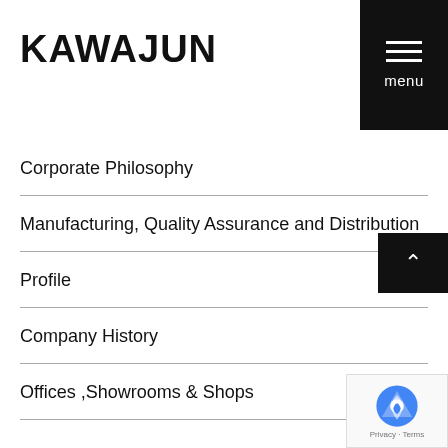KAWAJUN
[Figure (other): Black menu button with three horizontal white lines and 'menu' label]
Corporate Philosophy
Manufacturing, Quality Assurance and Distribution
Profile
Company History
Offices ,Showrooms & Shops
[Figure (other): Black back-to-top button with upward arrow]
[Figure (other): Google reCAPTCHA badge with logo and Privacy/Terms text]